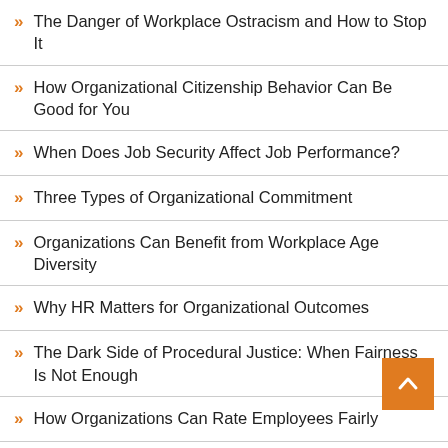The Danger of Workplace Ostracism and How to Stop It
How Organizational Citizenship Behavior Can Be Good for You
When Does Job Security Affect Job Performance?
Three Types of Organizational Commitment
Organizations Can Benefit from Workplace Age Diversity
Why HR Matters for Organizational Outcomes
The Dark Side of Procedural Justice: When Fairness Is Not Enough
How Organizations Can Rate Employees Fairly